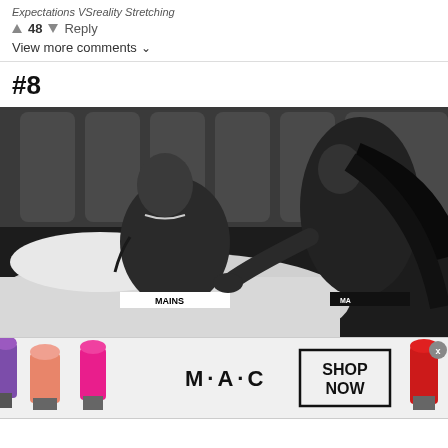Expectations VSreality Stretching
↑ 48 ↓ Reply
View more comments ∨
#8
[Figure (photo): Black and white fashion/editorial photo of two people on a bed. A shirtless man with chain necklace and tattoos wearing underwear labeled 'MAINS' lies on a bed. A woman with long straight dark hair leans toward him. Image appears to be a fashion campaign shoot.]
[Figure (photo): MAC Cosmetics advertisement banner showing multiple lipsticks in purple, pink and red colors alongside MAC logo text and a 'SHOP NOW' box with border.]